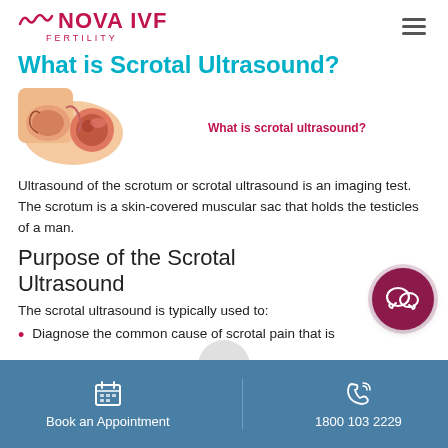NOVA IVF FERTILITY
What is Scrotal Ultrasound?
[Figure (illustration): Anatomical illustration of the scrotal anatomy showing cross-sectional view, with a caption 'What is scrotal ultrasound?' in pink text.]
Ultrasound of the scrotum or scrotal ultrasound is an imaging test. The scrotum is a skin-covered muscular sac that holds the testicles of a man.
Purpose of the Scrotal Ultrasound
The scrotal ultrasound is typically used to:
Diagnose the common cause of scrotal pain that is
Book an Appointment    1800 103 2229